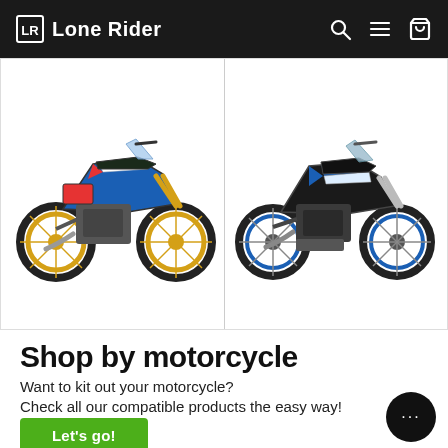Lone Rider
[Figure (photo): Two adventure motorcycles side by side: left is a blue/white/red Honda Africa Twin style bike with gold wheels, right is a blue/black Yamaha Tenere style adventure bike. Both shown on white background in a two-panel grid layout.]
Shop by motorcycle
Want to kit out your motorcycle?
Check all our compatible products the easy way!
Let's go!